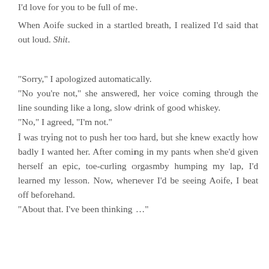I'd love for you to be full of me.
When Aoife sucked in a startled breath, I realized I'd said that out loud. Shit.
“Sorry,” I apologized automatically.
“No you’re not,” she answered, her voice coming through the line sounding like a long, slow drink of good whiskey.
“No,” I agreed, “I’m not.”
I was trying not to push her too hard, but she knew exactly how badly I wanted her. After coming in my pants when she’d given herself an epic, toe-curling orgasmby humping my lap, I’d learned my lesson. Now, whenever I’d be seeing Aoife, I beat off beforehand.
“About that. I’ve been thinking …”